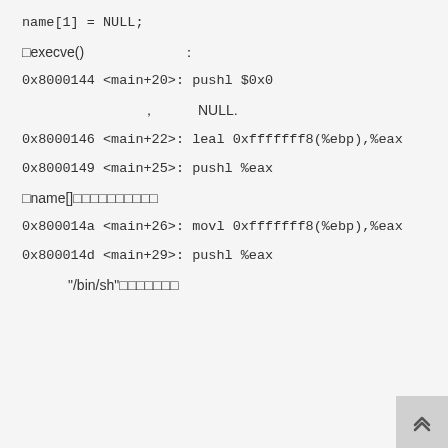name[1] = NULL;
□execve()　　　　　　　：
0x8000144 <main+20>: pushl $0x0
，　　　NULL.
0x8000146 <main+22>: leal 0xfffffff8(%ebp),%eax
0x8000149 <main+25>: pushl %eax
□name[]□□□□□□□□□□
0x800014a <main+26>: movl 0xfffffff8(%ebp),%eax
0x800014d <main+29>: pushl %eax
"/bin/sh"□□□□□□□